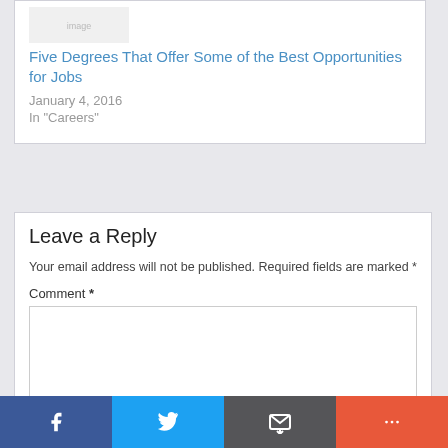Five Degrees That Offer Some of the Best Opportunities for Jobs
January 4, 2016
In "Careers"
Leave a Reply
Your email address will not be published. Required fields are marked *
Comment *
[Figure (other): Social sharing bar with Facebook, Twitter, Email, and More buttons]